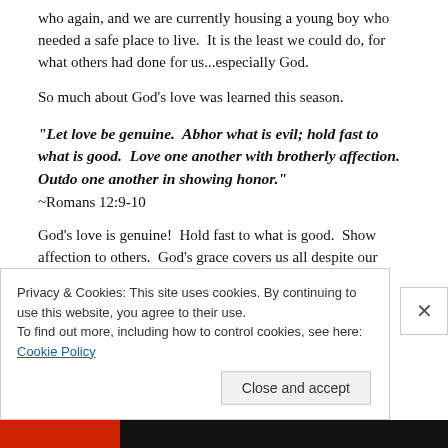who again, and we are currently housing a young boy who needed a safe place to live.  It is the least we could do, for what others had done for us...especially God.
So much about God's love was learned this season.
“Let love be genuine.  Abhor what is evil; hold fast to what is good.  Love one another with brotherly affection. Outdo one another in showing honor.”
~Romans 12:9-10
God’s love is genuine!  Hold fast to what is good.  Show affection to others.  God’s grace covers us all despite our
Privacy & Cookies: This site uses cookies. By continuing to use this website, you agree to their use.
To find out more, including how to control cookies, see here: Cookie Policy
Close and accept